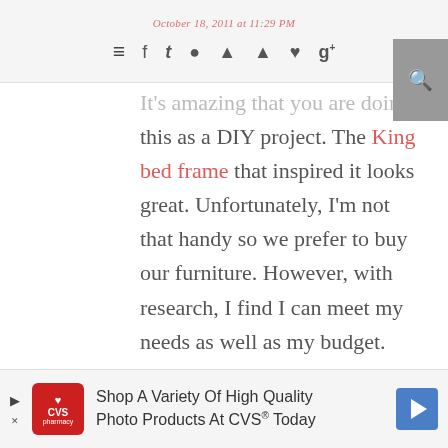October 18, 2011 at 11:29 PM [navigation icons]
It's amazing that you are doing this as a DIY project. The King bed frame that inspired it looks great. Unfortunately, I'm not that handy so we prefer to buy our furniture. However, with research, I find I can meet my needs as well as my budget. When I needed to replace my bed frame, I found that 1800mattress had a really useful site for everything, from research to shopping-- and they offer a whole lot more
[Figure (infographic): CVS Pharmacy advertisement banner: Shop A Variety Of High Quality Photo Products At CVS Today]